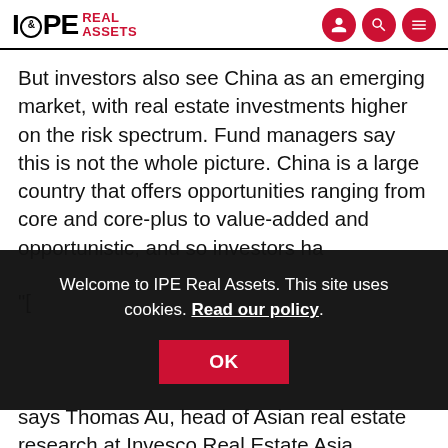IPE Real Assets
But investors also see China as an emerging market, with real estate investments higher on the risk spectrum. Fund managers say this is not the whole picture. China is a large country that offers opportunities ranging from core and core-plus to value-added and opportunistic, and so investors ha... says Thomas Au, head of Asian real estate research at Invesco Real Estate Asia. Invesco currently manages $8bn in Japan, China, and Hong Kong.
Welcome to IPE Real Assets. This site uses cookies. Read our policy.